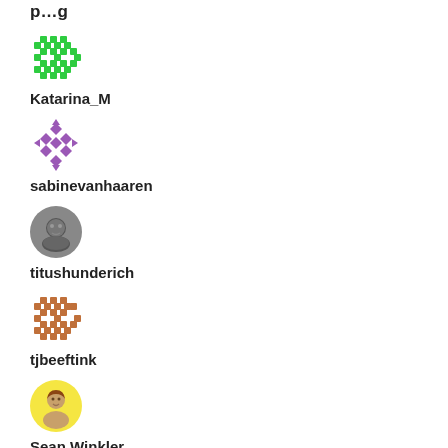[Figure (illustration): Green pixel/identicon avatar for Katarina_M]
Katarina_M
[Figure (illustration): Purple pixel/identicon avatar for sabinevanhaaren]
sabinevanhaaren
[Figure (photo): Grayscale profile photo avatar for titushunderich]
titushunderich
[Figure (illustration): Brown/orange pixel/identicon avatar for tjbeeftink]
tjbeeftink
[Figure (photo): Color profile photo of Sean Winkler with yellow background]
Sean Winkler
Subscribe to Blog via Email